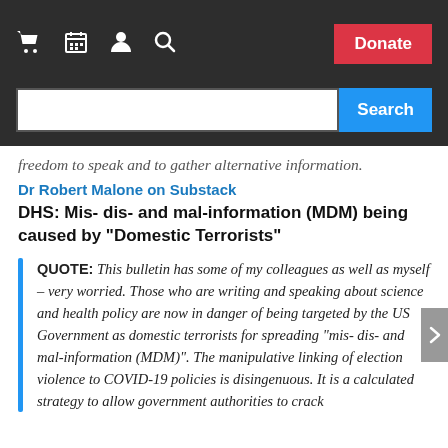Navigation bar with cart, calendar, person, search icons and Donate button, plus Search input bar
freedom to speak and to gather alternative information.
Dr Robert Malone on Substack
DHS: Mis- dis- and mal-information (MDM) being caused by “Domestic Terrorists”
QUOTE: This bulletin has some of my colleagues as well as myself – very worried. Those who are writing and speaking about science and health policy are now in danger of being targeted by the US Government as domestic terrorists for spreading “mis- dis- and mal-information (MDM)”. The manipulative linking of election violence to COVID-19 policies is disingenuous. It is a calculated strategy to allow government authorities to crack